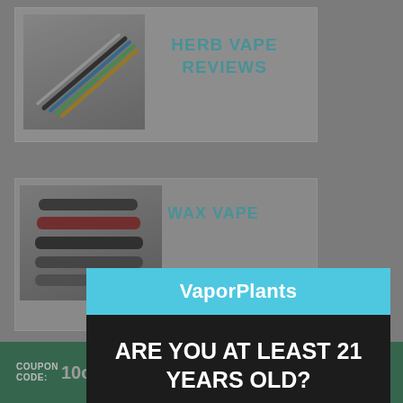[Figure (screenshot): Background website content showing vape product review categories (Herb Vape Reviews, Wax Vape) with product images of vape pens, partially dimmed by modal overlay]
VaporPlants
ARE YOU AT LEAST 21 YEARS OLD?
- Yes -   - No -
GO BACK TO THE TOP
COUPON CODE: 10off   10% OFF OFFER: Today